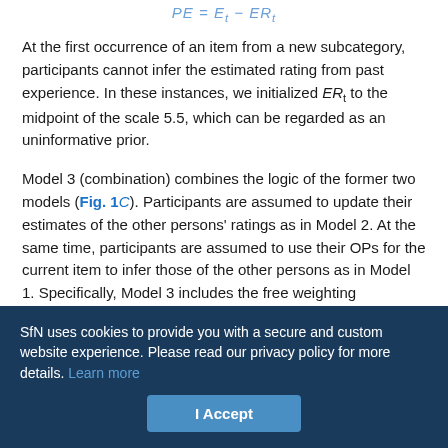At the first occurrence of an item from a new subcategory, participants cannot infer the estimated rating from past experience. In these instances, we initialized ER_t to the midpoint of the scale 5.5, which can be regarded as an uninformative prior.
Model 3 (combination) combines the logic of the former two models (Fig. 1C). Participants are assumed to update their estimates of the other persons' ratings as in Model 2. At the same time, participants are assumed to use their OPs for the current item to infer those of the other persons as in Model 1. Specifically, Model 3 includes the free weighting parameter γ, which formalizes the assumption that participants use a weighted combination of RL and their OPs to
SfN uses cookies to provide you with a secure and custom website experience. Please read our privacy policy for more details. Learn more